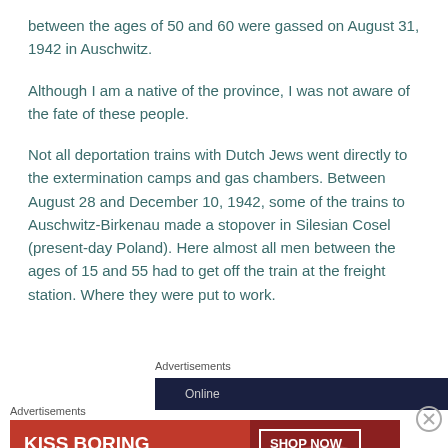between the ages of 50 and 60 were gassed on August 31, 1942 in Auschwitz.
Although I am a native of the province, I was not aware of the fate of these people.
Not all deportation trains with Dutch Jews went directly to the extermination camps and gas chambers. Between August 28 and December 10, 1942, some of the trains to Auschwitz-Birkenau made a stopover in Silesian Cosel (present-day Poland). Here almost all men between the ages of 15 and 55 had to get off the train at the freight station. Where they were put to work.
Advertisements
[Figure (screenshot): Dark advertisement banner, partially visible]
Advertisements
[Figure (photo): Macy's advertisement: KISS BORING LIPS GOODBYE with SHOP NOW button and Macy's logo, red background with woman's face]